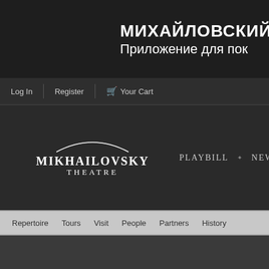МИХАЙЛОВСКИЙ
Приложение для пок
Log In   Register   🛒 Your Cart
[Figure (logo): Mikhailovsky Theatre logo with arc above text MIKHAILOVSKY THEATRE]
PLAYBILL  ✦  NEWS  ✦  THE...
Repertoire   Tours   Visit   People   Partners   History
ARTISTIC MANAGEMENT